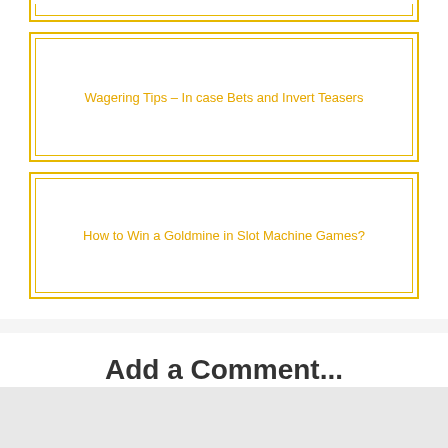Wagering Tips – In case Bets and Invert Teasers
How to Win a Goldmine in Slot Machine Games?
Add a Comment...